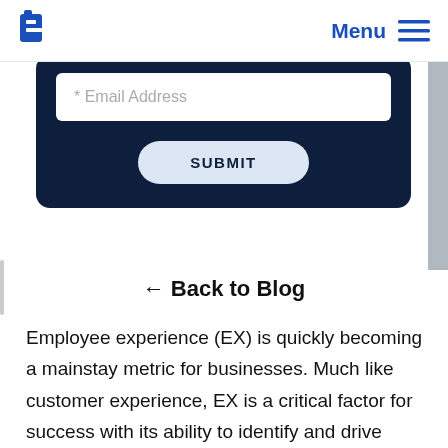Menu
[Figure (screenshot): Email address input field and SUBMIT button inside a dark navy card/form panel]
← Back to Blog
Employee experience (EX) is quickly becoming a mainstay metric for businesses. Much like customer experience, EX is a critical factor for success with its ability to identify and drive impactful change within organizations. Why? Because employees are the most prevalent factor